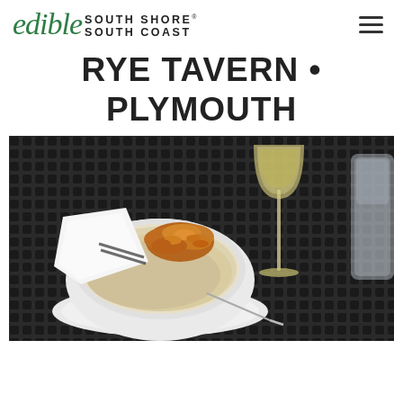edible South Shore South Coast
RYE TAVERN • PLYMOUTH
[Figure (photo): A bowl of clam chowder topped with fried clams, served with a white napkin, a glass of white wine, and a water glass on a dark metal mesh outdoor table at Rye Tavern, Plymouth.]